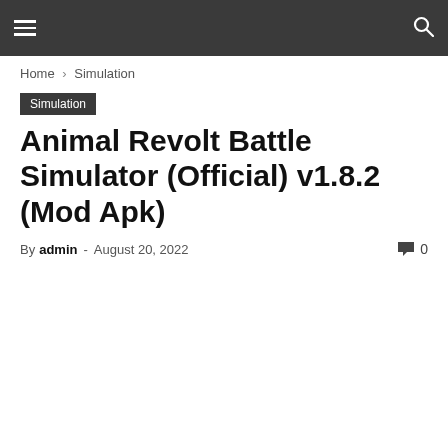Navigation bar with hamburger menu and search icon
Home › Simulation
Simulation
Animal Revolt Battle Simulator (Official) v1.8.2 (Mod Apk)
By admin - August 20, 2022   0